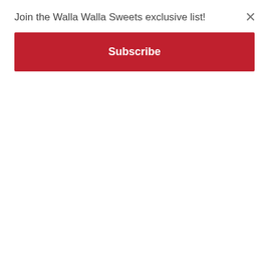Join the Walla Walla Sweets exclusive list!
Subscribe
[Figure (screenshot): Modal overlay with subscribe button for Walla Walla Sweets email list]
Sweets Change Start Time for Game on 7/31 to Mitigate Forecasted Heat
Late Rally Falls Short as Port Angeles Takes the Series Finale
Lefties Steal Game Two from Sweets
Huge Fourth Inning Propels Sweets to Victory in Port Angeles